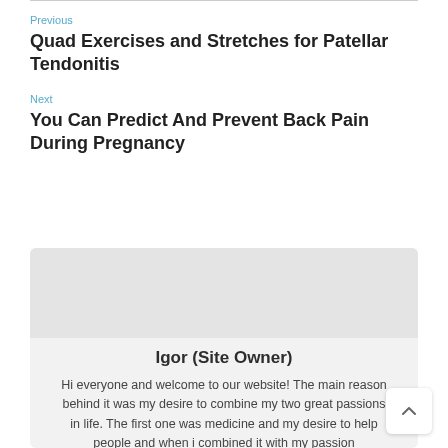Previous
Quad Exercises and Stretches for Patellar Tendonitis
Next
You Can Predict And Prevent Back Pain During Pregnancy
Igor (Site Owner)
Hi everyone and welcome to our website! The main reason behind it was my desire to combine my two great passions in life. The first one was medicine and my desire to help people and when i combined it with my passion